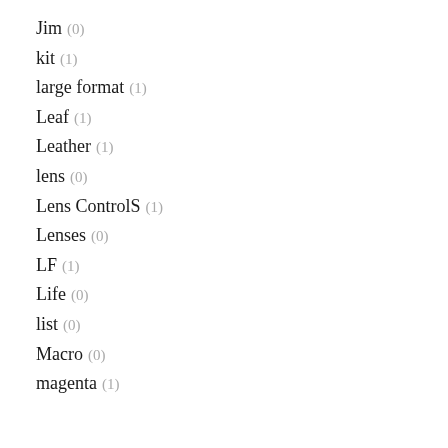Jim (0)
kit (1)
large format (1)
Leaf (1)
Leather (1)
lens (0)
Lens ControlS (1)
Lenses (0)
LF (1)
Life (0)
list (0)
Macro (0)
magenta (1)